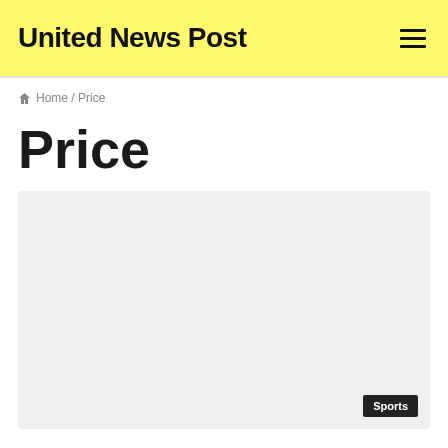United News Post
🏠 Home / Price
Price
[Figure (photo): Large light gray placeholder image with a 'Sports' tag in the bottom right corner]